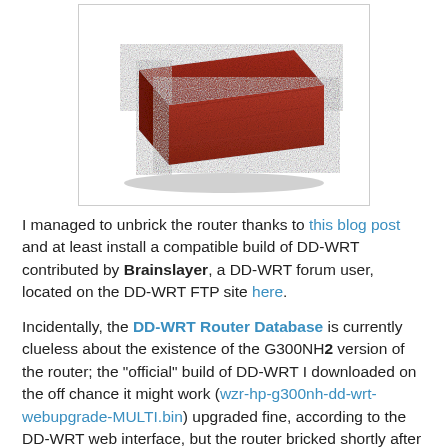[Figure (photo): A red brick photographed on a white background, displayed inside a light gray bordered box.]
I managed to unbrick the router thanks to this blog post and at least install a compatible build of DD-WRT contributed by Brainslayer, a DD-WRT forum user, located on the DD-WRT FTP site here.
Incidentally, the DD-WRT Router Database is currently clueless about the existence of the G300NH2 version of the router; the "official" build of DD-WRT I downloaded on the off chance it might work (wzr-hp-g300nh-dd-wrt-webupgrade-MULTI.bin) upgraded fine, according to the DD-WRT web interface, but the router bricked shortly after rebooting without any message indicating failure. Attempting to use this